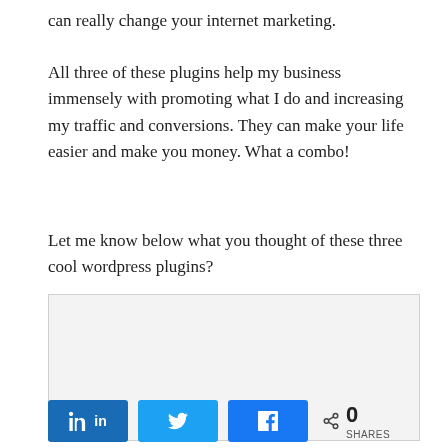can really change your internet marketing.
All three of these plugins help my business immensely with promoting what I do and increasing my traffic and conversions. They can make your life easier and make you money. What a combo!
Let me know below what you thought of these three cool wordpress plugins?
[Figure (other): Empty comment/text input box with light gray background and border]
[Figure (infographic): Social share bar with LinkedIn (blue), Twitter (light blue), Facebook (blue) buttons and a share count showing 0 SHARES]